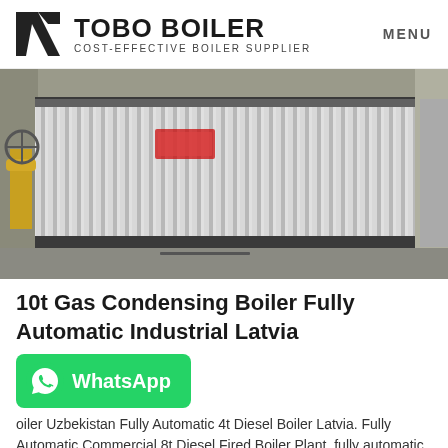TOBO BOILER — COST-EFFECTIVE BOILER SUPPLIER — MENU
[Figure (photo): Industrial boiler with corrugated metal casing photographed in a factory setting. The boiler is large, silver/galvanized metal with ribbed corrugated panels, with yellow pipes visible on the left side.]
10t Gas Condensing Boiler Fully Automatic Industrial Latvia
[Figure (other): WhatsApp contact button — green rounded rectangle with WhatsApp logo icon and 'WhatsApp' text in white]
oiler Uzbekistan Fully Automatic 4t Diesel Boiler Latvia. Fully Automatic Commercial 8t Diesel Fired Boiler Plant. fully automatic 100kg firewood laundry